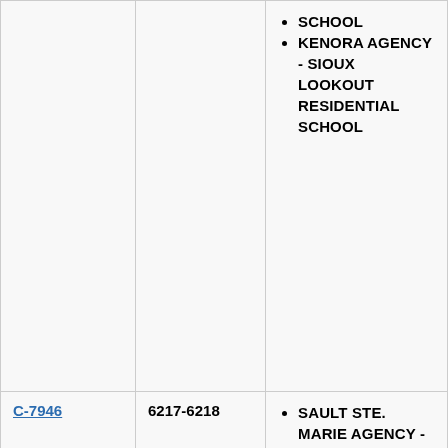|  |  | SCHOOL
KENORA AGENCY - SIOUX LOOKOUT RESIDENTIAL SCHOOL |
| C-7946 | 6217-6218 | SAULT STE. MARIE AGENCY - SPANISH RESIDENTIAL SCHOOL |
| C-7947 | 6218-6219 | SAULT STE. MARIE AGENCY - SPANISH RESIDENTIAL SCHOOL |